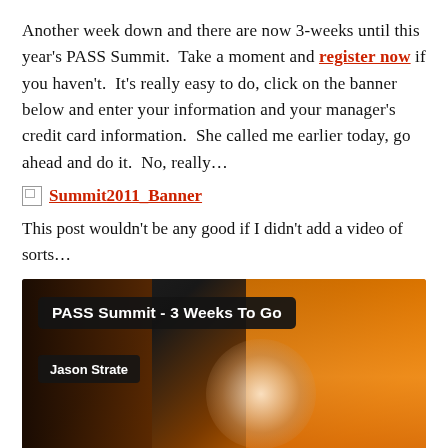Another week down and there are now 3-weeks until this year's PASS Summit.  Take a moment and register now if you haven't.  It's really easy to do, click on the banner below and enter your information and your manager's credit card information.  She called me earlier today, go ahead and do it.  No, really…
[Figure (other): Broken image link placeholder followed by text 'Summit2011_Banner' as a red hyperlink]
This post wouldn't be any good if I didn't add a video of sorts…
[Figure (screenshot): Video thumbnail showing 'PASS Summit - 3 Weeks To Go' title bar and 'Jason Strate' name bar over a blurred video frame with orange and dark tones and a person's face visible]